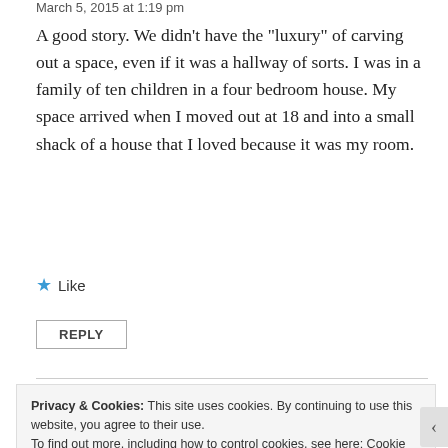March 5, 2015 at 1:19 pm
A good story. We didn’t have the “luxury” of carving out a space, even if it was a hallway of sorts. I was in a family of ten children in a four bedroom house. My space arrived when I moved out at 18 and into a small shack of a house that I loved because it was my room.
★ Like
REPLY
Privacy & Cookies: This site uses cookies. By continuing to use this website, you agree to their use.
To find out more, including how to control cookies, see here: Cookie Policy
Close and accept